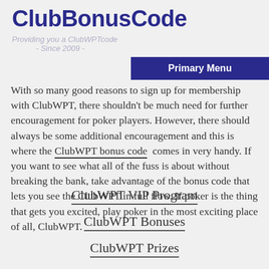ClubBonusCode — Providing you a ClubWPT code - Since 2009 - | Primary Menu
With so many good reasons to sign up for membership with ClubWPT, there shouldn't be much need for further encouragement for poker players. However, there should always be some additional encouragement and this is where the ClubWPT bonus code comes in very handy. If you want to see what all of the fuss is about without breaking the bank, take advantage of the bonus code that lets you see the ClubWPT in full flow. If poker is the thing that gets you excited, play poker in the most exciting place of all, ClubWPT.
ClubWPT VIP Program
ClubWPT Bonuses
ClubWPT Prizes